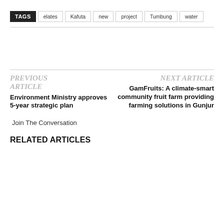TAGS  elates  Kafuta  new  project  Tumbung  water
PREVIOUS ARTICLE
Environment Ministry approves 5-year strategic plan
NEXT ARTICLE
GamFruits: A climate-smart community fruit farm providing farming solutions in Gunjur
Join The Conversation
RELATED ARTICLES